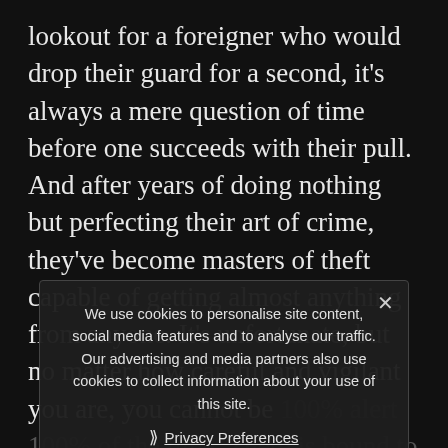lookout for a foreigner who would drop their guard for a second, it's always a mere question of time before one succeeds with their pull. And after years of doing nothing but perfecting their art of crime, they've become masters of theft capable of getting almost anything from anyone. It's unfortunate, but no matter how careful and vigilant you are, you cannot be 100% alert 100% of the time. There is bound to be a moment during your visit to Cambodia when you let your guard down and that blink your eye away from your possessions will be gone. There will always be a local in your vicinity checking for that opportune moment to rob you. And when it comes – which is something that comes upon
We use cookies to personalise site content, social media features and to analyse our traffic. Our advertising and media partners also use cookies to collect information about your use of this site.
Privacy Preferences
I Agree